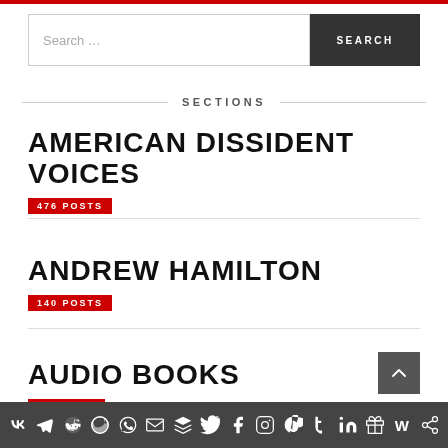Search …
SECTIONS
AMERICAN DISSIDENT VOICES
476 POSTS
ANDREW HAMILTON
140 POSTS
AUDIO BOOKS
60 POSTS
Social media icon bar